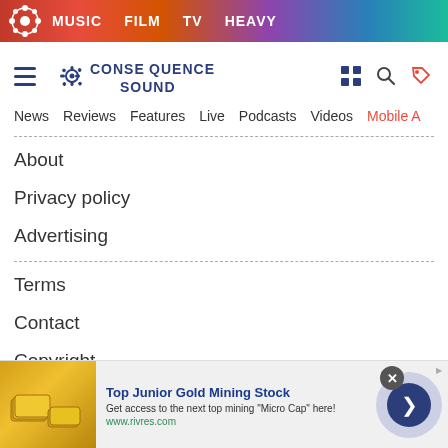MUSIC   FILM   TV   HEAVY
[Figure (logo): Consequence Sound logo with gear icon and site name]
News
Reviews
Features
Live
Podcasts
Videos
Mobile A
About
Privacy policy
Advertising
Terms
Contact
Copyright
[Figure (screenshot): Advertisement banner: Top Junior Gold Mining Stock - Get access to the next top mining 'Micro Cap' here! www.rivres.com]